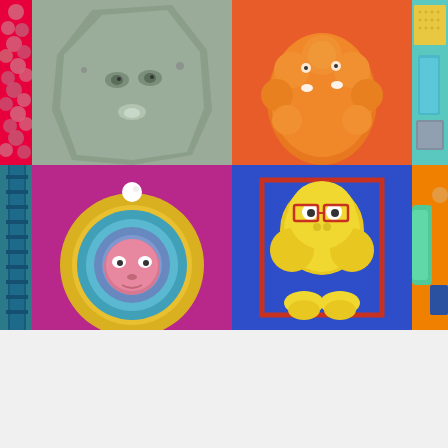[Figure (illustration): A colorful 2x4 grid of whimsical 3D animated characters on colored backgrounds: top row shows pink bubbles on red, a gray rock-like face on sage green, an orange fluffy creature on orange-red, and colorful stacked objects on teal; bottom row shows a dark teal mechanical element, a pink sphere in a yellow ring on magenta, a yellow blob character in a red frame on dark blue, and a colorful figure on orange.]
Adobe Creative Type Quiz
10 min